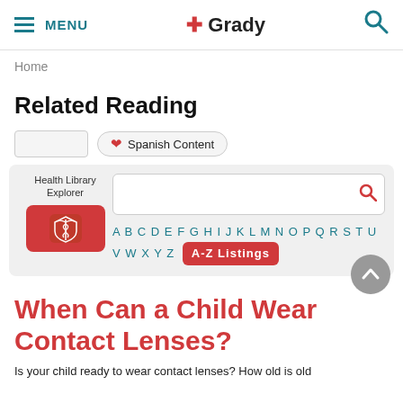MENU | Grady | Search
Home
Related Reading
Spanish Content
[Figure (screenshot): Health Library Explorer widget with search bar and A-Z alphabet letter links and A-Z Listings badge]
When Can a Child Wear Contact Lenses?
Is your child ready to wear contact lenses? How old is old